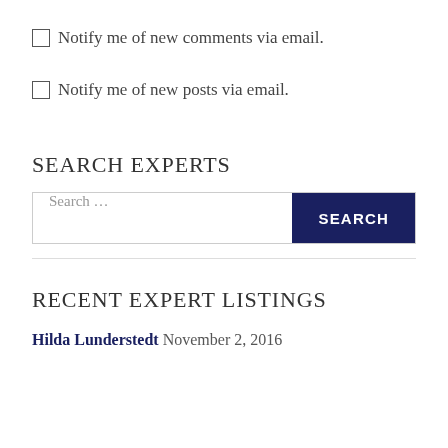Notify me of new comments via email.
Notify me of new posts via email.
SEARCH EXPERTS
Search ...
RECENT EXPERT LISTINGS
Hilda Lunderstedt November 2, 2016